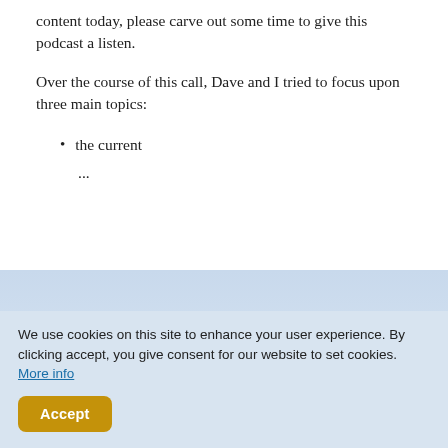content today, please carve out some time to give this podcast a listen.
Over the course of this call, Dave and I tried to focus upon three main topics:
the current
...
[Figure (photo): Mountain landscape with snow-capped peaks against a light blue sky.]
We use cookies on this site to enhance your user experience. By clicking accept, you give consent for our website to set cookies. More info